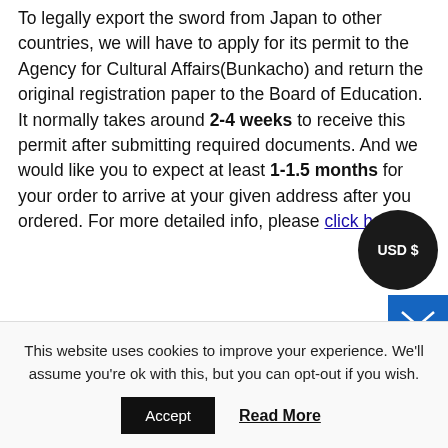To legally export the sword from Japan to other countries, we will have to apply for its permit to the Agency for Cultural Affairs(Bunkacho) and return the original registration paper to the Board of Education. It normally takes around 2-4 weeks to receive this permit after submitting required documents. And we would like you to expect at least 1-1.5 months for your order to arrive at your given address after you ordered. For more detailed info, please click here.
It is allowed for residents in Japan to own authentic Japanese swords without a special license as long as they come with registration papers. Please feel free to contact us if you are a resident of Japan, whether temporarily
This website uses cookies to improve your experience. We'll assume you're ok with this, but you can opt-out if you wish.